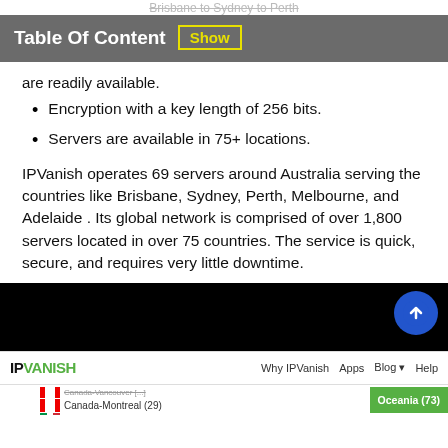Brisbane to Sydney to Perth
Table Of Content  Show
are readily available.
Encryption with a key length of 256 bits.
Servers are available in 75+ locations.
IPVanish operates 69 servers around Australia serving the countries like Brisbane, Sydney, Perth, Melbourne, and Adelaide . Its global network is comprised of over 1,800 servers located in over 75 countries. The service is quick, secure, and requires very little downtime.
[Figure (screenshot): IPVanish website screenshot showing navigation bar with logo, Why IPVanish, Apps, Blog, Help links, and a server list showing Canada-Vancouver, Canada-Montreal (29), and Oceania (73) buttons]